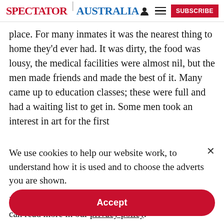SPECTATOR | AUSTRALIA
place. For many inmates it was the nearest thing to home they'd ever had. It was dirty, the food was lousy, the medical facilities were almost nil, but the men made friends and made the best of it. Many came up to education classes; these were full and had a waiting list to get in. Some men took an interest in art for the first
We use cookies to help our website work, to understand how it is used and to choose the adverts you are shown.
By clicking "Accept" you agree to us doing so. You can read more in our privacy policy.
Accept